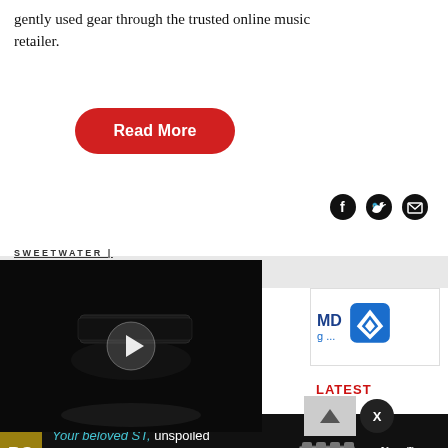gently used gear through the trusted online music retailer.
[Figure (other): Red rounded rectangle 'Read More' button]
[Figure (other): Social share icons: Facebook, Twitter, Email]
SWEETWATER |
[Figure (other): Video thumbnail with play button showing a dark guitar hardware product on black background]
[Figure (other): Sidebar advertisement box with blue text 'MD' and map pin icon and blue link text 'g ...']
LATEST
[Figure (other): Up arrow button and X close button]
[Figure (other): Advertisement banner: 'Your beloved ST, unspoiled' Vega-Trem guitar tremolo ad with gold PG logo, guitar hardware image, and tagline 'Play like never before']